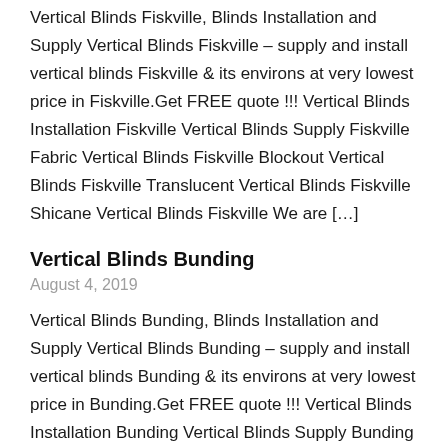Vertical Blinds Fiskville, Blinds Installation and Supply Vertical Blinds Fiskville – supply and install vertical blinds Fiskville & its environs at very lowest price in Fiskville.Get FREE quote !!! Vertical Blinds Installation Fiskville Vertical Blinds Supply Fiskville Fabric Vertical Blinds Fiskville Blockout Vertical Blinds Fiskville Translucent Vertical Blinds Fiskville Shicane Vertical Blinds Fiskville We are […]
Vertical Blinds Bunding
August 4, 2019
Vertical Blinds Bunding, Blinds Installation and Supply Vertical Blinds Bunding – supply and install vertical blinds Bunding & its environs at very lowest price in Bunding.Get FREE quote !!! Vertical Blinds Installation Bunding Vertical Blinds Supply Bunding Fabric Vertical Blinds Bunding Blockout Vertical